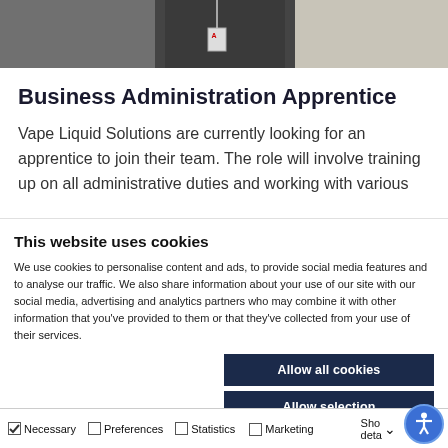[Figure (photo): Photo of a person wearing a badge/lanyard, cropped at torso level, partially visible at top of page]
Business Administration Apprentice
Vape Liquid Solutions are currently looking for an apprentice to join their team. The role will involve training up on all administrative duties and working with various
This website uses cookies
We use cookies to personalise content and ads, to provide social media features and to analyse our traffic. We also share information about your use of our site with our social media, advertising and analytics partners who may combine it with other information that you've provided to them or that they've collected from your use of their services.
Allow all cookies
Allow selection
Use necessary cookies only
Necessary  Preferences  Statistics  Marketing  Show details